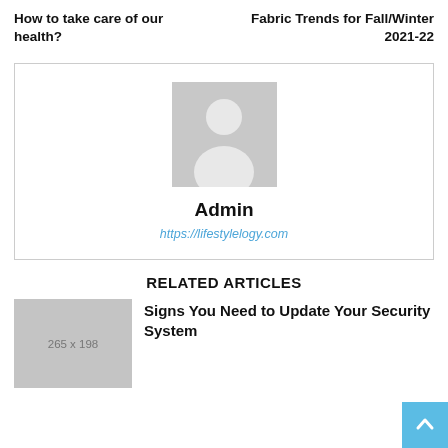How to take care of our health?
Fabric Trends for Fall/Winter 2021-22
[Figure (other): Author profile card with placeholder avatar, name 'Admin', and URL https://lifestylelogy.com]
RELATED ARTICLES
[Figure (other): Thumbnail placeholder image sized 265 x 198]
Signs You Need to Update Your Security System